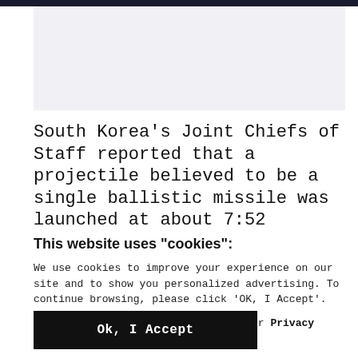[Figure (photo): Gray placeholder image area at top of page]
South Korea's Joint Chiefs of Staff reported that a projectile believed to be a single ballistic missile was launched at about 7:52
This website uses "cookies":
We use cookies to improve your experience on our site and to show you personalized advertising. To continue browsing, please click 'OK, I Accept'.
For more information, please read our Privacy Policy
Ok, I Accept